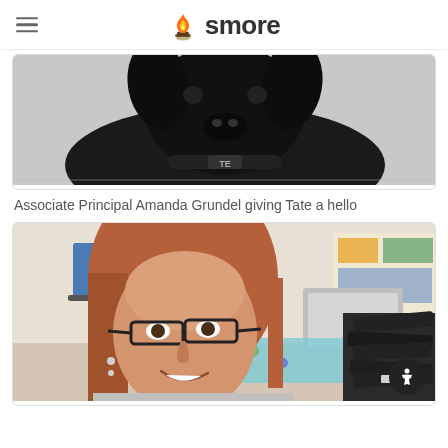smore
[Figure (photo): Photo of a black dog wearing a collar with the name TATE, looking up at the camera from a tiled floor]
Associate Principal Amanda Grundel giving Tate a hello
[Figure (photo): Selfie photo of a smiling woman with reddish-brown hair wearing glasses, taken in an office setting with dark fabric visible to the right and a monitor and bulletin boards in the background]